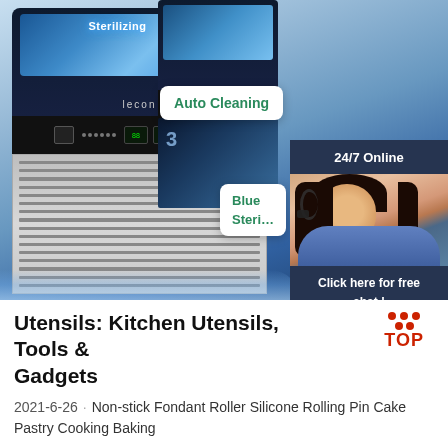[Figure (photo): Product image of a Lecon commercial ice machine with blue sterilizing display, stainless steel grille, and control panel. Right side shows another ice machine unit. Overlaid badges show 'Auto Cleaning' and 'Blue Sterilizing' text in green. A customer service chat widget on the right shows '24/7 Online', a female agent with headset, 'Click here for free chat!', and an orange QUOTATION button.]
Utensils: Kitchen Utensils, Tools & Gadgets
2021-6-26 · Non-stick Fondant Roller Silicone Rolling Pin Cake Pastry Cooking Baking